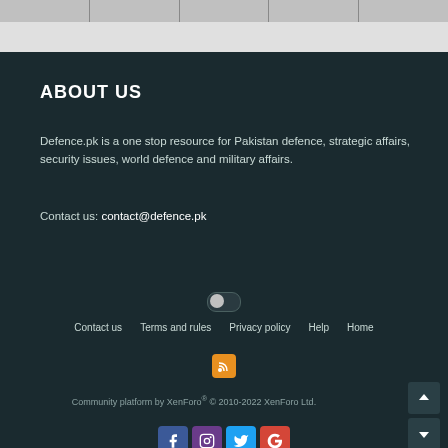ABOUT US
Defence.pk is a one stop resource for Pakistan defence, strategic affairs, security issues, world defence and military affairs.
Contact us: contact@defence.pk
[Figure (other): Dark mode toggle switch in off position]
Contact us   Terms and rules   Privacy policy   Help   Home
[Figure (other): RSS feed icon in orange/yellow square]
Community platform by XenForo® © 2010-2022 XenForo Ltd.
[Figure (other): Social media icons: Facebook, Instagram, Twitter, Google]